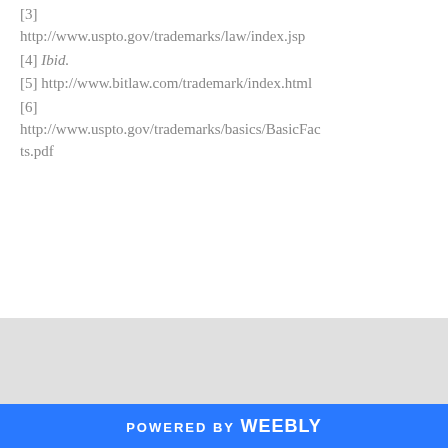[3] http://www.uspto.gov/trademarks/law/index.jsp
[4] Ibid.
[5] http://www.bitlaw.com/trademark/index.html
[6] http://www.uspto.gov/trademarks/basics/BasicFacts.pdf
POWERED BY weebly